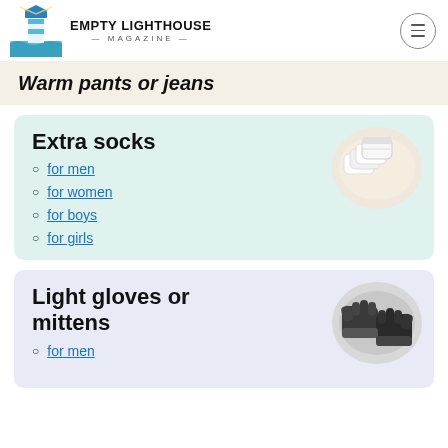Empty Lighthouse Magazine
Warm pants or jeans
Extra socks
for men
for women
for boys
for girls
Light gloves or mittens
for men